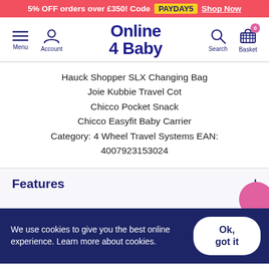5% OFF orders over £350! Code PAYDAY5 Shop Now
[Figure (logo): Online 4 Baby logo with navigation icons: Menu, Account, Search, Basket]
Hauck Shopper SLX Changing Bag
Joie Kubbie Travel Cot
Chicco Pocket Snack
Chicco Easyfit Baby Carrier
Category: 4 Wheel Travel Systems EAN:
4007923153024
Features
We use cookies to give you the best online experience. Learn more about cookies.